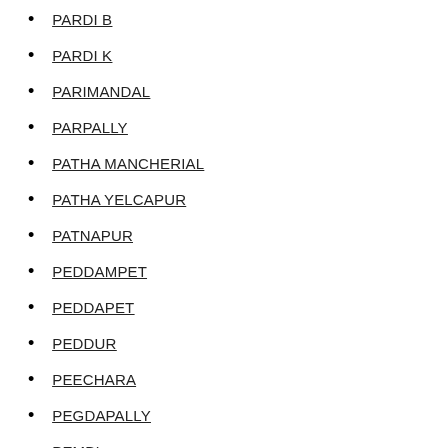PARDI B
PARDI K
PARIMANDAL
PARPALLY
PATHA MANCHERIAL
PATHA YELCAPUR
PATNAPUR
PEDDAMPET
PEDDAPET
PEDDUR
PEECHARA
PEGDAPALLY
PEMBI
PENCHIKALPET
PENDALWADA